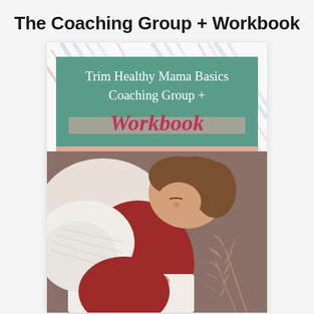The Coaching Group + Workbook
[Figure (illustration): Decorative product card showing 'Trim Healthy Mama Basics Coaching Group + Workbook' with a teal banner overlay on a decorative background, and a photo of a woman in a red shirt and white cardigan writing/reading below.]